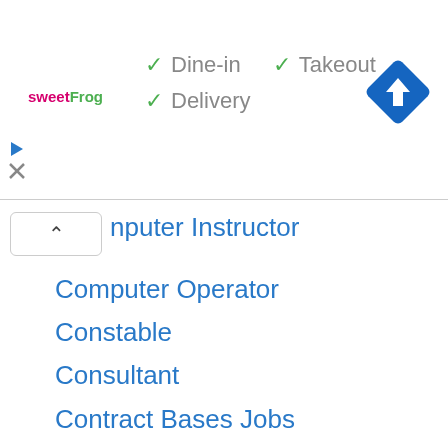[Figure (screenshot): SweetFrog logo and advertisement banner with checkmarks for Dine-in, Takeout, Delivery and a navigation/directions icon]
nputer Instructor (partial, clipped at top)
Computer Operator
Constable
Consultant
Contract Bases Jobs
Cook
Counsellor
Court Jobs
D.Pharm
Data Entry Operator/DEO
Defence Jobs